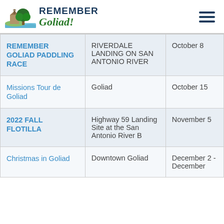[Figure (logo): Remember Goliad! logo with tree and building illustration, dark blue bold text REMEMBER and green italic cursive Goliad!]
| Event | Location | Date |
| --- | --- | --- |
| REMEMBER GOLIAD PADDLING RACE | RIVERDALE LANDING ON SAN ANTONIO RIVER | October 8 |
| Missions Tour de Goliad | Goliad | October 15 |
| 2022 FALL FLOTILLA | Highway 59 Landing Site at the San Antonio River B | November 5 |
| Christmas in Goliad | Downtown Goliad | December 2 - December |